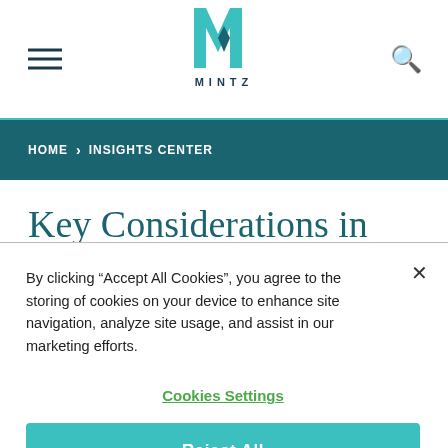Mintz logo header with hamburger menu and search icon
HOME > INSIGHTS CENTER
Key Considerations in Maximizing...
By clicking "Accept All Cookies", you agree to the storing of cookies on your device to enhance site navigation, analyze site usage, and assist in our marketing efforts.
Cookies Settings
Reject All